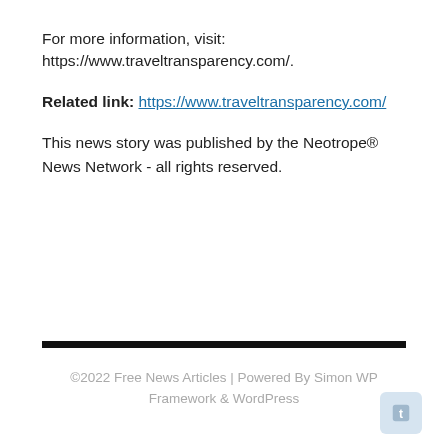For more information, visit: https://www.traveltransparency.com/.
Related link: https://www.traveltransparency.com/
This news story was published by the Neotrope® News Network - all rights reserved.
©2022 Free News Articles | Powered By Simon WP Framework & WordPress